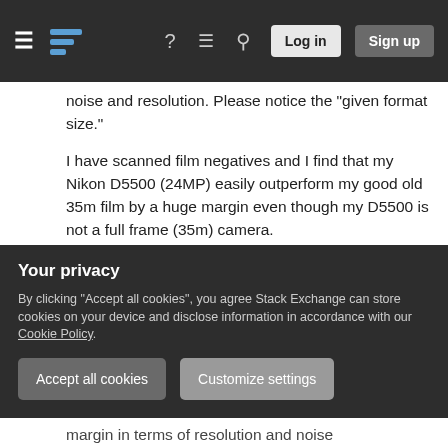Stack Exchange navigation bar with hamburger menu, logo, help, chat, search icons, Log in and Sign up buttons
noise and resolution. Please notice the "given format size."
I have scanned film negatives and I find that my Nikon D5500 (24MP) easily outperform my good old 35m film by a huge margin even though my D5500 is not a full frame (35m) camera.
The noise is handled way much better on digital cameras than analog cameras. Even at 400 ISO, the film has plenty of noise while my D5500 showed little noise. At higher ISO settings, film just gets
Your privacy
By clicking "Accept all cookies", you agree Stack Exchange can store cookies on your device and disclose information in accordance with our Cookie Policy.
margin in terms of resolution and noise